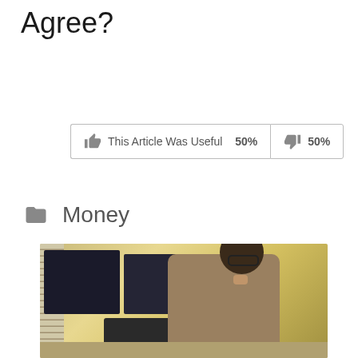Agree?
[Figure (infographic): Thumbs up and thumbs down voting buttons showing 'This Article Was Useful 50%' and '50%']
Money
[Figure (photo): Person with glasses sitting at a desk working on a laptop computer with monitors in the background, in a warm-toned room]